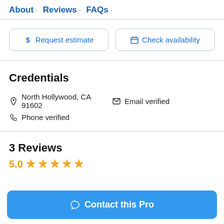About · Reviews · FAQs ·
$ Request estimate | Check availability
Credentials
North Hollywood, CA 91602 | Email verified | Phone verified
3 Reviews
5.0 ★★★★★
Contact this Pro